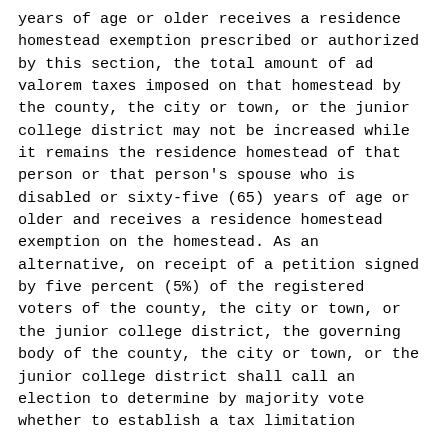years of age or older receives a residence homestead exemption prescribed or authorized by this section, the total amount of ad valorem taxes imposed on that homestead by the county, the city or town, or the junior college district may not be increased while it remains the residence homestead of that person or that person's spouse who is disabled or sixty-five (65) years of age or older and receives a residence homestead exemption on the homestead. As an alternative, on receipt of a petition signed by five percent (5%) of the registered voters of the county, the city or town, or the junior college district, the governing body of the county, the city or town, or the junior college district shall call an election to determine by majority vote whether to establish a tax limitation